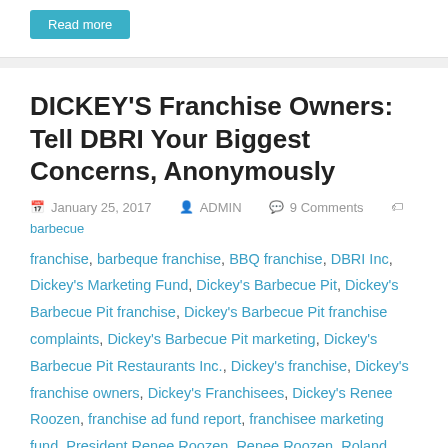Read more
DICKEY'S Franchise Owners: Tell DBRI Your Biggest Concerns, Anonymously
January 25, 2017   ADMIN   9 Comments   barbecue franchise, barbeque franchise, BBQ franchise, DBRI Inc, Dickey's Marketing Fund, Dickey's Barbecue Pit, Dickey's Barbecue Pit franchise, Dickey's Barbecue Pit franchise complaints, Dickey's Barbecue Pit marketing, Dickey's Barbecue Pit Restaurants Inc., Dickey's franchise, Dickey's franchise owners, Dickey's Franchisees, Dickey's Renee Roozen, franchise ad fund report, franchisee marketing fund, President Renee Roozen, Renee Roozen, Roland Dickey Jr., systemwide franchise marketing fund
Dickey's franchise owners:  Do you have complaints or urgent issues with your franchisor but are hesitant to